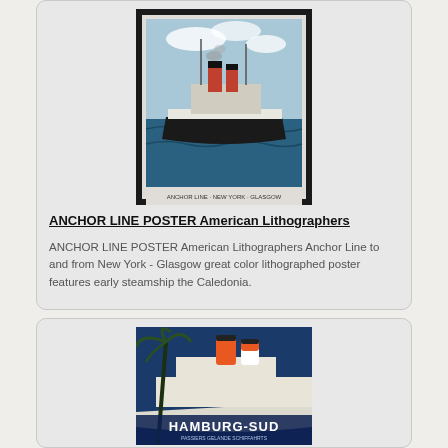[Figure (photo): Anchor Line steamship poster showing the early steamship Caledonia on the ocean, with dark border frame. Vintage lithograph style.]
ANCHOR LINE POSTER American Lithographers
ANCHOR LINE POSTER American Lithographers Anchor Line to and from New York - Glasgow great color lithographed poster features early steamship the Caledonia.
[Figure (photo): Hamburg-Sud ocean liner poster showing a large white ocean liner with orange and white funnels, a palm tree silhouette on the left, blue ocean and sky background. Text at bottom reads HAMBURG-SUD.]